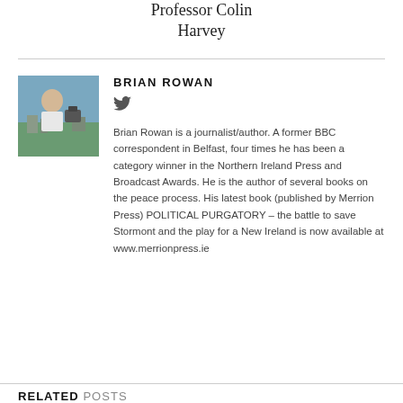Professor Colin Harvey
[Figure (photo): Photo of Brian Rowan, a man in a white shirt standing outdoors near camera equipment with a cityscape in the background]
BRIAN ROWAN
[Figure (other): Twitter bird icon]
Brian Rowan is a journalist/author. A former BBC correspondent in Belfast, four times he has been a category winner in the Northern Ireland Press and Broadcast Awards. He is the author of several books on the peace process. His latest book (published by Merrion Press) POLITICAL PURGATORY – the battle to save Stormont and the play for a New Ireland is now available at www.merrionpress.ie
RELATED POSTS